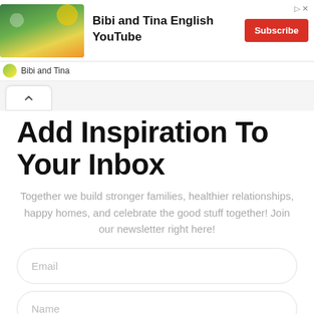[Figure (screenshot): YouTube ad banner for Bibi and Tina English YouTube channel with Subscribe button]
Bibi and Tina
Add Inspiration To Your Inbox
Together we build stronger families, healthier relationships, happy homes, and celebrate the good stuff together! Join our newsletter right here!
Email
Name
You can unsubscribe anytime. For more details, review our Privacy Policy.